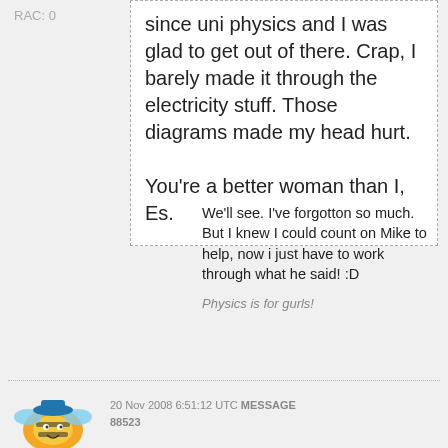RAC: 0
since uni physics and I was glad to get out of there. Crap, I barely made it through the electricity stuff. Those diagrams made my head hurt.

You're a better woman than I, Es.
We'll see. I've forgotton so much. But I knew I could count on Mike to help, now i just have to work through what he said! :D
Physics is for gurls!
20 Nov 2008 6:51:12 UTC MESSAGE 88523